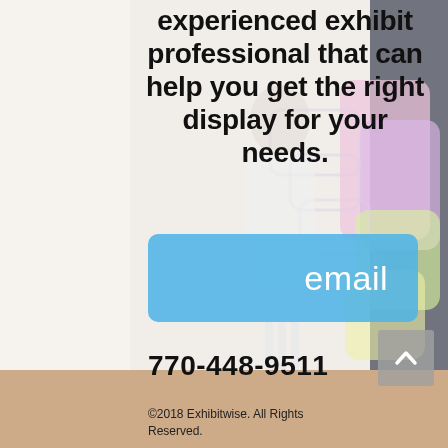[Figure (photo): Background photo showing exhibit display panels with colorful translucent boards in pink, purple, green, and yellow, with a person standing near them in a room with wooden flooring and a dark wall panel.]
experienced exhibit professional that can help you get the right display for your needs.
email
770-448-9511
©2018 Exhibitwise. All Rights Reserved.